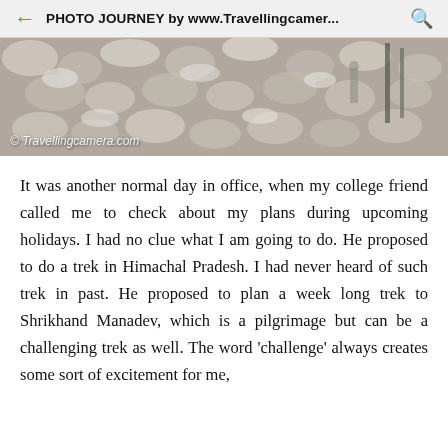PHOTO JOURNEY by www.Travellingcamer...
[Figure (photo): Wide panoramic photo of rocky/snowy terrain with a watermark '© Travellingcamera.com' in the lower left]
It was another normal day in office, when my college friend called me to check about my plans during upcoming holidays. I had no clue what I am going to do. He proposed to do a trek in Himachal Pradesh. I had never heard of such trek in past. He proposed to plan a week long trek to Shrikhand Manadev, which is a pilgrimage but can be a challenging trek as well. The word 'challenge' always creates some sort of excitement for me,